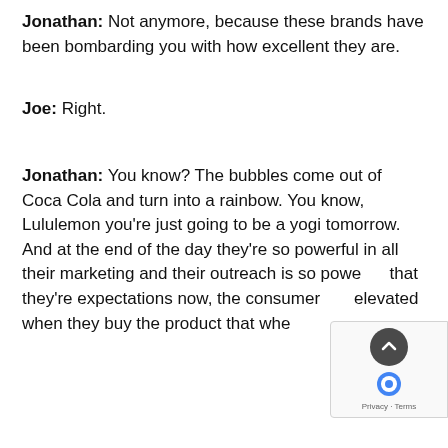Jonathan: Not anymore, because these brands have been bombarding you with how excellent they are.
Joe: Right.
Jonathan: You know? The bubbles come out of Coca Cola and turn into a rainbow. You know, Lululemon you're just going to be a yogi tomorrow. And at the end of the day they're so powerful in all their marketing and their outreach is so powerful that they're expectations now, the consumer elevated when they buy the product that whe...